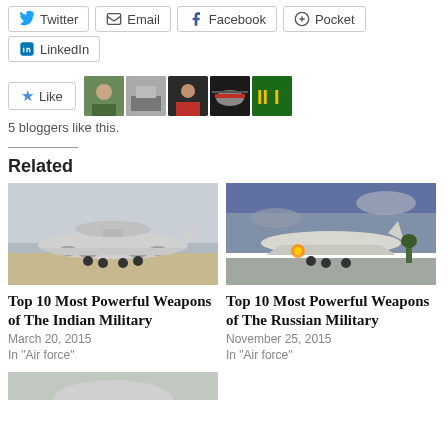[Figure (screenshot): Social share buttons: Twitter, Email, Facebook, Pocket]
[Figure (screenshot): LinkedIn share button]
[Figure (screenshot): Like button with 5 blogger avatars]
5 bloggers like this.
Related
[Figure (photo): Military AWACS aircraft with large radar dome on runway]
[Figure (photo): Russian military bomber aircraft taking off]
Top 10 Most Powerful Weapons of The Indian Military
March 20, 2015
In "Air force"
Top 10 Most Powerful Weapons of The Russian Military
November 25, 2015
In "Air force"
[Figure (photo): Partial view of another military aircraft image]